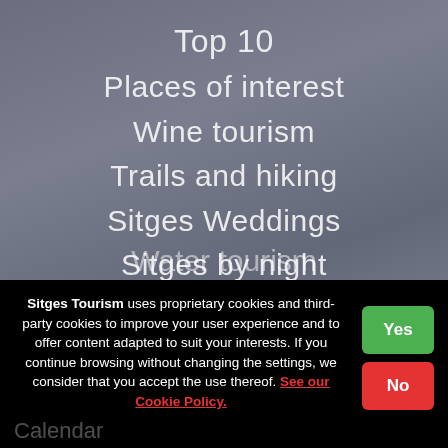Top 10
Places of interest
Wine tourism
Trails and hiking
Sitges Weddings
Sitges by night
Gastronomy
Shopping
Active tourism
Water tourism
Sitges Tourism uses proprietary cookies and third-party cookies to improve your user experience and to offer content adapted to suit your interests. If you continue browsing without changing the settings, we consider that you accept the use thereof. See our Cookie Policy.